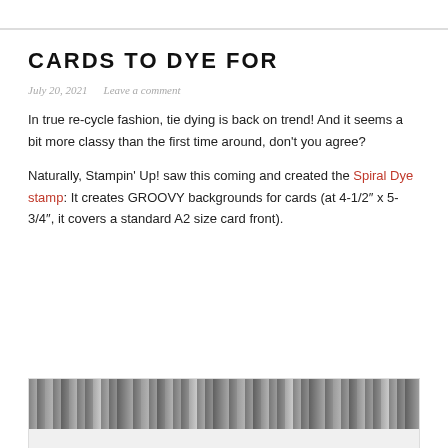CARDS TO DYE FOR
July 20, 2021   Leave a comment
In true re-cycle fashion, tie dying is back on trend! And it seems a bit more classy than the first time around, don't you agree?
Naturally, Stampin' Up! saw this coming and created the Spiral Dye stamp: It creates GROOVY backgrounds for cards (at 4-1/2" x 5-3/4", it covers a standard A2 size card front).
[Figure (photo): Partial view of cards or stamped backgrounds with tie-dye spiral patterns in black and white at the bottom of the page]